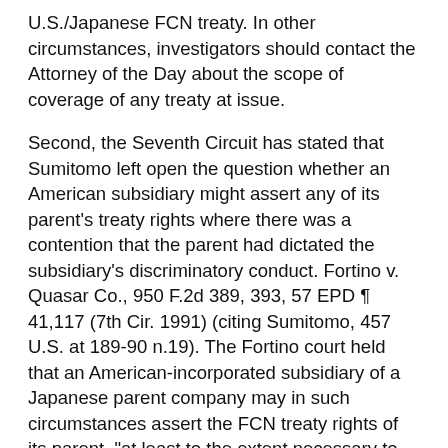U.S./Japanese FCN treaty. In other circumstances, investigators should contact the Attorney of the Day about the scope of coverage of any treaty at issue.
Second, the Seventh Circuit has stated that Sumitomo left open the question whether an American subsidiary might assert any of its parent's treaty rights where there was a contention that the parent had dictated the subsidiary's discriminatory conduct. Fortino v. Quasar Co., 950 F.2d 389, 393, 57 EPD ¶ 41,117 (7th Cir. 1991) (citing Sumitomo, 457 U.S. at 189-90 n.19). The Fortino court held that an American-incorporated subsidiary of a Japanese parent company may in such circumstances assert the FCN treaty rights of its parent, "at least to the extent necessary to prevent the treaty from being set at naught." 950 F.2d at 393. In Fortino, Quasar, a division of a U.S.-incorporated company owned by a Japanese corporation, discharged its American executives and gave